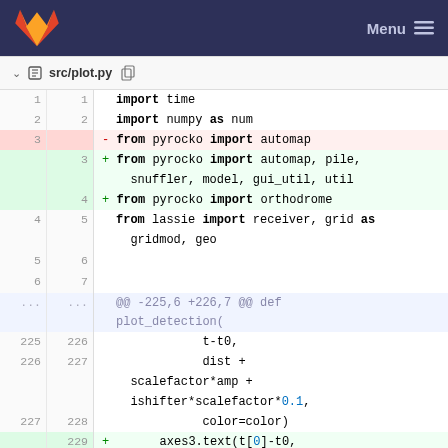src/plot.py
[Figure (screenshot): GitLab diff view of src/plot.py showing code changes: import statements with additions of pyrocko imports (pile, snuffler, model, gui_util, util, orthodrome) and function call changes around dist, scalefactor, ishifter, color, axes3.text]
import time
import numpy as num
- from pyrocko import automap
+ from pyrocko import automap, pile,
  snuffler, model, gui_util, util
+ from pyrocko import orthodrome
from lassie import receiver, grid as
  gridmod, geo

@@ -225,6 +226,7 @@ def plot_detection(
        t-t0,
        dist +
  scalefactor*amp +
  ishifter*scalefactor*0.1,
        color=color)
+       axes3.text(t[0]-t0,